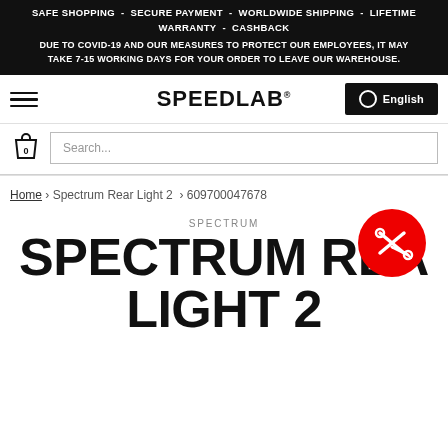SAFE SHOPPING - SECURE PAYMENT - WORLDWIDE SHIPPING - LIFETIME WARRANTY - CASHBACK
DUE TO COVID-19 AND OUR MEASURES TO PROTECT OUR EMPLOYEES, IT MAY TAKE 7-15 WORKING DAYS FOR YOUR ORDER TO LEAVE OUR WAREHOUSE.
[Figure (logo): SPEEDLAB logo in bold black text with trademark symbol]
Search...
Home › Spectrum Rear Light 2 › 609700047678
SPECTRUM
SPECTRUM REAR LIGHT 2